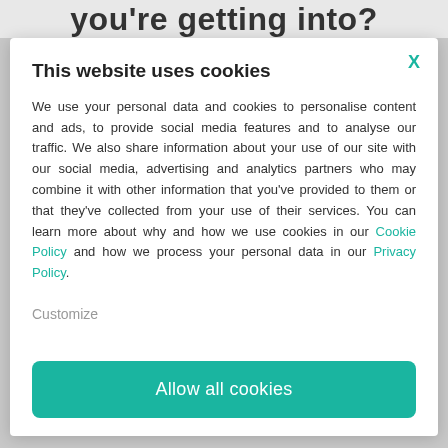you're getting into?
This website uses cookies
We use your personal data and cookies to personalise content and ads, to provide social media features and to analyse our traffic. We also share information about your use of our site with our social media, advertising and analytics partners who may combine it with other information that you've provided to them or that they've collected from your use of their services. You can learn more about why and how we use cookies in our Cookie Policy and how we process your personal data in our Privacy Policy.
Customize
Allow all cookies